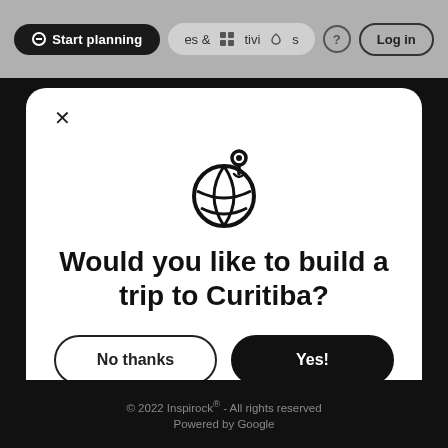[Figure (screenshot): Top navigation bar with 'Start planning' pill button, '& activities' nav with icons, help icon, and 'Log in' button on a gray background]
[Figure (screenshot): Modal dialog with globe+pin icon, title 'Would you like to build a trip to Curitiba?', and two buttons: 'No thanks' (outline) and 'Yes!' (filled black)]
© 2022 Inspirock® - All rights reserved
Powered by Google